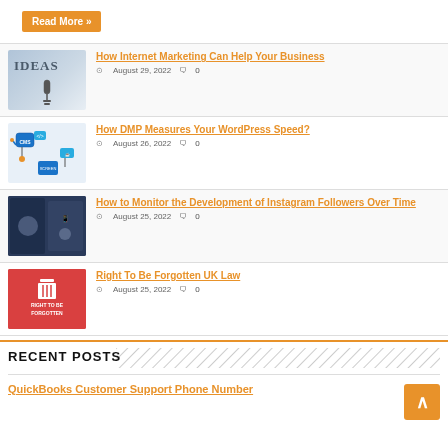Read More »
How Internet Marketing Can Help Your Business
August 29, 2022  0
How DMP Measures Your WordPress Speed?
August 26, 2022  0
How to Monitor the Development of Instagram Followers Over Time
August 25, 2022  0
Right To Be Forgotten UK Law
August 25, 2022  0
RECENT POSTS
QuickBooks Customer Support Phone Number